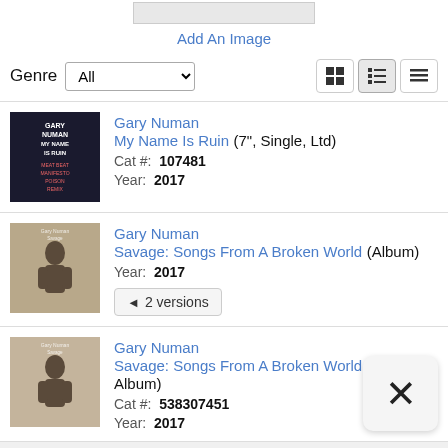Add An Image
Genre  All
Gary Numan
My Name Is Ruin (7", Single, Ltd)
Cat #: 107481
Year: 2017
Gary Numan
Savage: Songs From A Broken World (Album)
Year: 2017
◄ 2 versions
Gary Numan
Savage: Songs From A Broken World (2xLP, Album)
Cat #: 538307451
Year: 2017